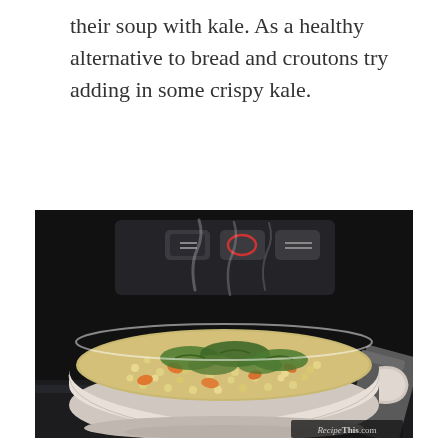their soup with kale. As a healthy alternative to bread and croutons try adding in some crispy kale.
[Figure (photo): A white ceramic bowl filled with a hearty soup containing barley, kale, carrots, and other vegetables, steaming hot, placed in front of a pressure cooker on a dark surface. A watermark reads 'RecipeThis.com' in the lower right corner.]